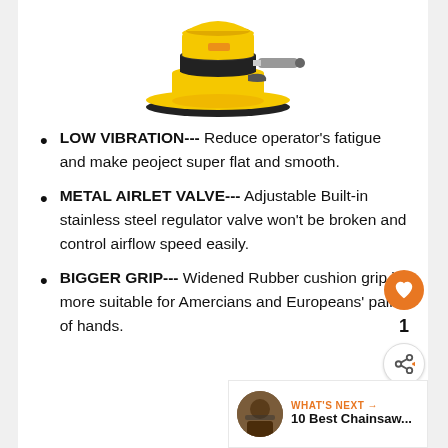[Figure (photo): Yellow and black orbital air sander / random orbit sander with rubber pad and air fitting, viewed from slightly above]
LOW VIBRATION--- Reduce operator's fatigue and make peoject super flat and smooth.
METAL AIRLET VALVE--- Adjustable Built-in stainless steel regulator valve won't be broken and control airflow speed easily.
BIGGER GRIP--- Widened Rubber cushion grip is more suitable for Amercians and Europeans' palm of hands.